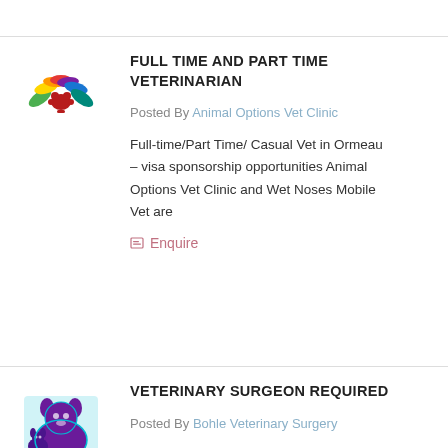[Figure (logo): Animal Options Vet Clinic logo - colorful lotus-like flower shape]
FULL TIME AND PART TIME VETERINARIAN
Posted By Animal Options Vet Clinic
Full-time/Part Time/ Casual Vet in Ormeau – visa sponsorship opportunities Animal Options Vet Clinic and Wet Noses Mobile Vet are
Enquire
[Figure (logo): Bohle Veterinary Surgery logo - purple/teal illustration of animals]
VETERINARY SURGEON REQUIRED
Posted By Bohle Veterinary Surgery